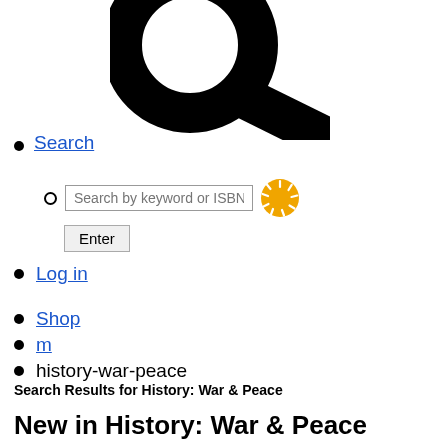[Figure (illustration): Large black magnifying glass icon (search icon), cropped, showing only the lower-left portion]
Search
Search by keyword or ISBN (input field) Enter (button) with spinner icon
Log in
Shop
m
history-war-peace
Search Results for History: War & Peace
New in History: War & Peace